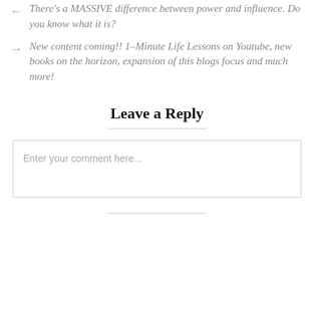There's a MASSIVE difference between power and influence. Do you know what it is?
New content coming!! 1-Minute Life Lessons on Youtube, new books on the horizon, expansion of this blogs focus and much more!
Leave a Reply
Enter your comment here...